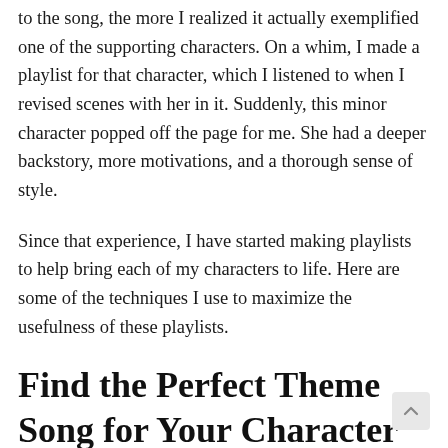to the song, the more I realized it actually exemplified one of the supporting characters. On a whim, I made a playlist for that character, which I listened to when I revised scenes with her in it. Suddenly, this minor character popped off the page for me. She had a deeper backstory, more motivations, and a thorough sense of style.
Since that experience, I have started making playlists to help bring each of my characters to life. Here are some of the techniques I use to maximize the usefulness of these playlists.
Find the Perfect Theme Song for Your Character
For some characters, like the one in my example above,